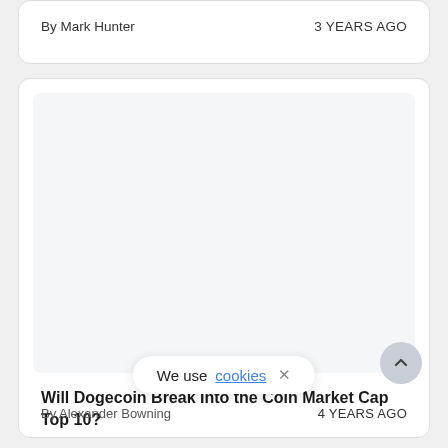By Mark Hunter    3 YEARS AGO
[Figure (photo): Blank/white image placeholder inside article card]
Will Dogecoin Break Into the Coin Market Cap Top 10?
By Alexander Bowning    4 YEARS AGO
We use cookies ×